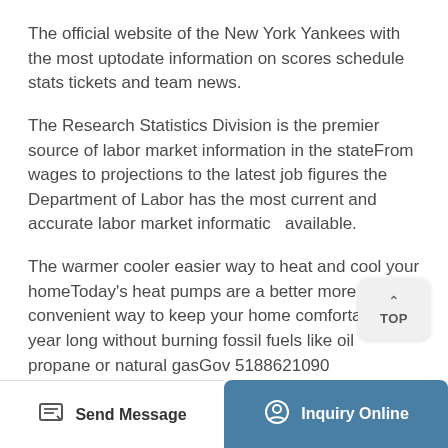The official website of the New York Yankees with the most uptodate information on scores schedule stats tickets and team news.
The Research Statistics Division is the premier source of labor market information in the stateFrom wages to projections to the latest job figures the Department of Labor has the most current and accurate labor market information available.
The warmer cooler easier way to heat and cool your homeToday's heat pumps are a better more convenient way to keep your home comfortable all year long without burning fossil fuels like oil propane or natural gasGov 5188621090 866NYSERDA Toll Free Fax 5188621091 17 Columbia
Send Message | Inquiry Online